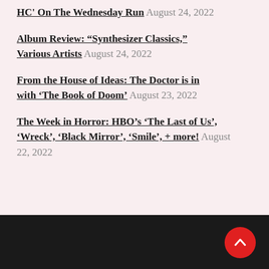HC' On The Wednesday Run August 24, 2022
Album Review: “Synthesizer Classics,” Various Artists August 24, 2022
From the House of Ideas: The Doctor is in with ‘The Book of Doom’ August 23, 2022
The Week in Horror: HBO’s ‘The Last of Us’, ‘Wreck’, ‘Black Mirror’, ‘Smile’, + more! August 22, 2022